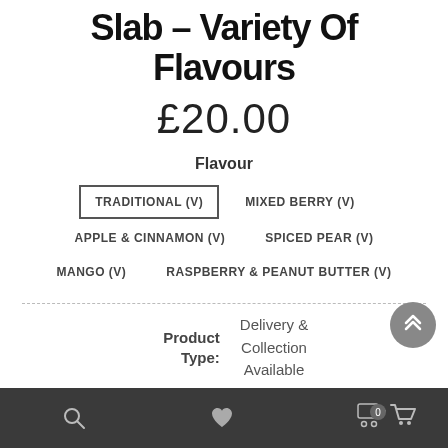Slab – Variety Of Flavours
£20.00
Flavour
TRADITIONAL (V)
MIXED BERRY (V)
APPLE & CINNAMON (V)
SPICED PEAR (V)
MANGO (V)
RASPBERRY & PEANUT BUTTER (V)
Product Type: Delivery & Collection Available
Quantity: 1